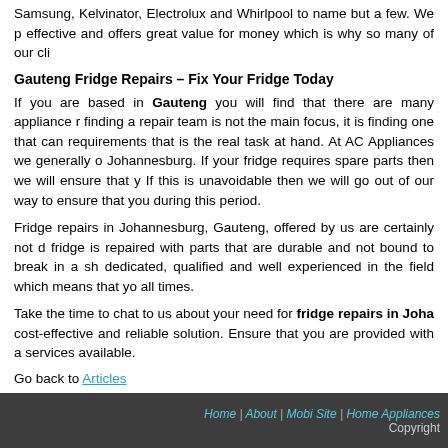Samsung, Kelvinator, Electrolux and Whirlpool to name but a few. We p... effective and offers great value for money which is why so many of our clie...
Gauteng Fridge Repairs – Fix Your Fridge Today
If you are based in Gauteng you will find that there are many appliance r... finding a repair team is not the main focus, it is finding one that can... requirements that is the real task at hand. At AC Appliances we generally o... Johannesburg. If your fridge requires spare parts then we will ensure that y... If this is unavoidable then we will go out of our way to ensure that you... during this period.
Fridge repairs in Johannesburg, Gauteng, offered by us are certainly not d... fridge is repaired with parts that are durable and not bound to break in a sh... dedicated, qualified and well experienced in the field which means that yo... all times.
Take the time to chat to us about your need for fridge repairs in Joha... cost-effective and reliable solution. Ensure that you are provided with a... services available.
Go back to Articles
Home | About | Mobi Site | Home Appliances ... Copyright